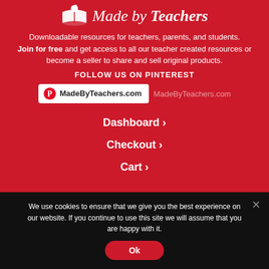[Figure (logo): Made by Teachers logo with open book icon and apple, white on red background]
Downloadable resources for teachers, parents, and students. Join for free and get access to all our teacher created resources or become a seller to share and sell original products.
FOLLOW US ON PINTEREST
MadeByTeachers.com  MadeByTeachers.com
Dashboard ›
Checkout ›
Cart ›
We use cookies to ensure that we give you the best experience on our website. If you continue to use this site we will assume that you are happy with it.
Ok